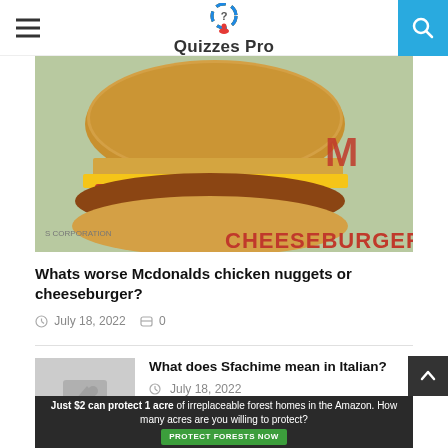Quizzes Pro
[Figure (photo): Close-up photo of a McDonald's cheeseburger with breaded chicken patty, cheese, and ketchup on a bun, with McDonald's CHEESEBURGER wrapper visible in background]
Whats worse Mcdonalds chicken nuggets or cheeseburger?
July 18, 2022   0
What does Sfachime mean in Italian?
July 18, 2022
[Figure (photo): Advertisement: Just $2 can protect 1 acre of irreplaceable forest homes in the Amazon. How many acres are you willing to protect? PROTECT FORESTS NOW]